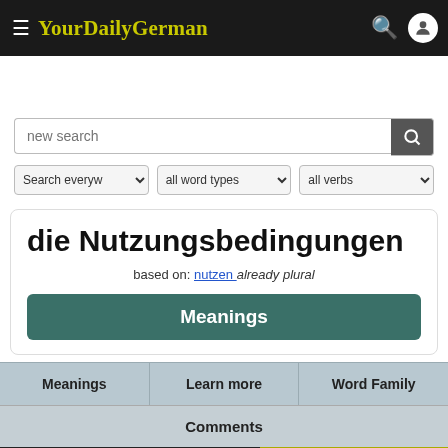YourDailyGerman
new search
Search everyw  all word types  all verbs
die Nutzungsbedingungen
based on: nutzen already plural
Meanings
Meanings  Learn more  Word Family
Comments
Subscribe for free